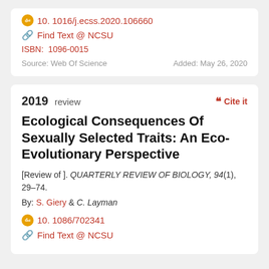doi 10.1016/j.ecss.2020.106660
Find Text @ NCSU
ISBN: 1096-0015
Source: Web Of Science   Added: May 26, 2020
2019 review
Cite it
Ecological Consequences Of Sexually Selected Traits: An Eco-Evolutionary Perspective
[Review of ]. QUARTERLY REVIEW OF BIOLOGY, 94(1), 29–74.
By: S. Giery & C. Layman
doi 10.1086/702341
Find Text @ NCSU